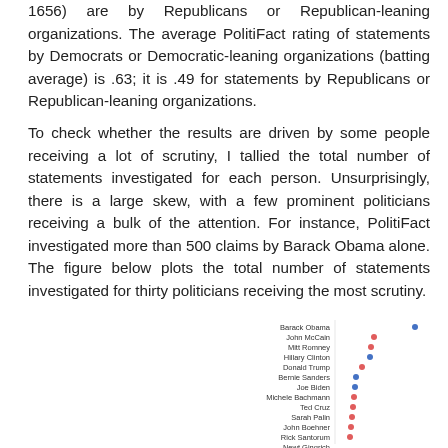1656) are by Republicans or Republican-leaning organizations. The average PolitiFact rating of statements by Democrats or Democratic-leaning organizations (batting average) is .63; it is .49 for statements by Republicans or Republican-leaning organizations.
To check whether the results are driven by some people receiving a lot of scrutiny, I tallied the total number of statements investigated for each person. Unsurprisingly, there is a large skew, with a few prominent politicians receiving a bulk of the attention. For instance, PolitiFact investigated more than 500 claims by Barack Obama alone. The figure below plots the total number of statements investigated for thirty politicians receiving the most scrutiny.
[Figure (scatter-plot): Statements investigated per politician (top 30)]